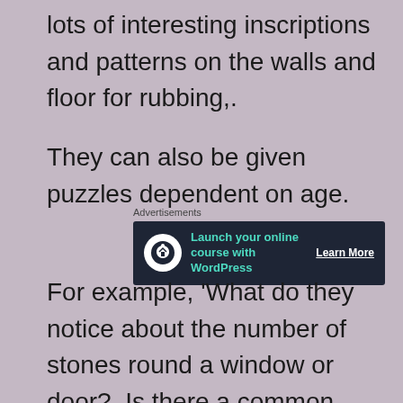lots of interesting inscriptions and patterns on the walls and floor for rubbing,.
They can also be given puzzles dependent on age.
[Figure (other): Advertisement banner with dark background: 'Launch your online course with WordPress' with a Learn More button and a logo icon]
For example, 'What do they notice about the number of stones round a window or door?  Is there a common number pattern? Why?! Of course they will realise that the number of